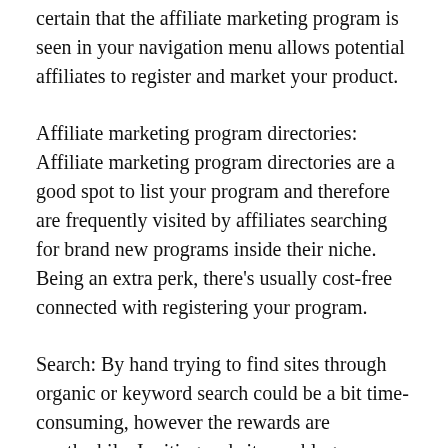certain that the affiliate marketing program is seen in your navigation menu allows potential affiliates to register and market your product.
Affiliate marketing program directories: Affiliate marketing program directories are a good spot to list your program and therefore are frequently visited by affiliates searching for brand new programs inside their niche. Being an extra perk, there's usually cost-free connected with registering your program.
Search: By hand trying to find sites through organic or keyword search could be a bit time-consuming, however the rewards are worthwhile. Inviting websites or blog proprietors to participate your program via a personal telephone call or email will certainly strengthen your partnership